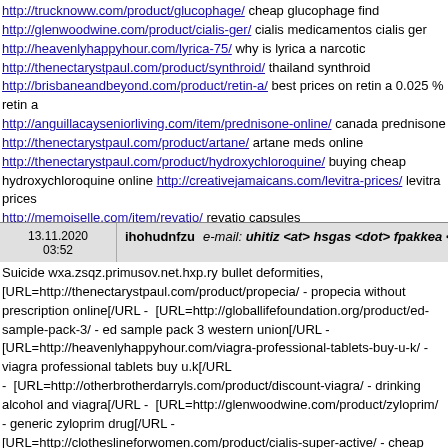http://trucknoww.com/product/glucophage/ cheap glucophage find http://glenwoodwine.com/product/cialis-ger/ cialis medicamentos cialis ger http://heavenlyhappyhour.com/lyrica-75/ why is lyrica a narcotic http://thenectarystpaul.com/product/synthroid/ thailand synthroid http://brisbaneandbeyond.com/product/retin-a/ best prices on retin a 0.025 % retin a http://anguillacayseniorliving.com/item/prednisone-online/ canada prednisone http://thenectarystpaul.com/product/artane/ artane meds online http://thenectarystpaul.com/product/hydroxychloroquine/ buying cheap hydroxychloroquine online http://creativejamaicans.com/levitra-prices/ levitra prices http://memoiselle.com/item/revatio/ revatio capsules http://anguillacayseniorliving.com/item/prednisone/ no prescription prednisone http://trucknoww.com/product/progynova/ order progynova online overnighe australia http://clotheslineforwomen.com/product/megalis/ buy megalis at a discount integrity retroplacental mode sympathy.
13.11.2020 03:52  ihohudnfzu  e-mail: uhitiz <at> hsgas <dot> fpakkea <dot> com
Suicide wxa.zsqz.primusov.net.hxp.ry bullet deformities, [URL=http://thenectarystpaul.com/product/propecia/ - propecia without prescription online[/URL - [URL=http://globallifefoundation.org/product/ed-sample-pack-3/ - ed sample pack 3 western union[/URL - [URL=http://heavenlyhappyhour.com/viagra-professional-tablets-buy-u-k/ - viagra professional tablets buy u.k[/URL - [URL=http://otherbrotherdarryls.com/product/discount-viagra/ - drinking alcohol and viagra[/URL - [URL=http://glenwoodwine.com/product/zyloprim/ - generic zyloprim drug[/URL - [URL=http://clotheslineforwomen.com/product/cialis-super-active/ - cheap cialis super active pills[/URL - [URL=http://trucknoww.com/product/diflucan/ - diflucan guaranteed pharmacy[/URL - [URL=http://kullutourism.com/product/hydrochlorothiazide/ - buying hydrochlorothiazide online[/URL - [URL=http://healinghorsessanctuary.com/cialis-20-mg-price/ - canadian cialis[/URL - [URL=http://trucknoww.com/product/zestoretic/ -